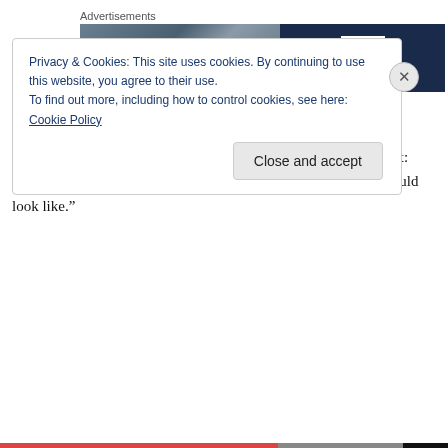Advertisements
[Figure (photo): Advertisement banner: left half shows a blurry photo, right half is dark navy blue with a white square containing a bold letter P (parking logo)]
From left to right: Nic's, Brody's, Dad's
While they were drying, my perverted mind immediately thought: “Wow. If I ever saw a unicorn’s ding, this is probably what it would look like.”
Privacy & Cookies: This site uses cookies. By continuing to use this website, you agree to their use.
To find out more, including how to control cookies, see here: Cookie Policy